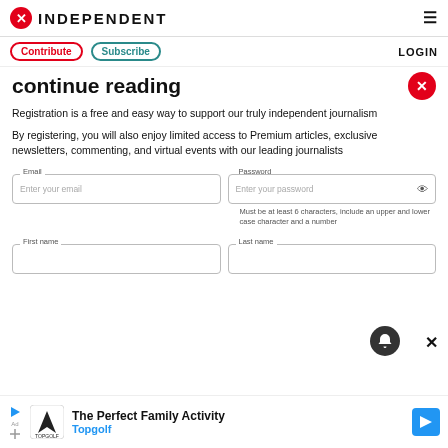INDEPENDENT
Contribute   Subscribe   LOGIN
continue reading
Registration is a free and easy way to support our truly independent journalism
By registering, you will also enjoy limited access to Premium articles, exclusive newsletters, commenting, and virtual events with our leading journalists
Email
Enter your email
Password
Enter your password
Must be at least 6 characters, include an upper and lower case character and a number
First name   Last name
The Perfect Family Activity
Topgolf